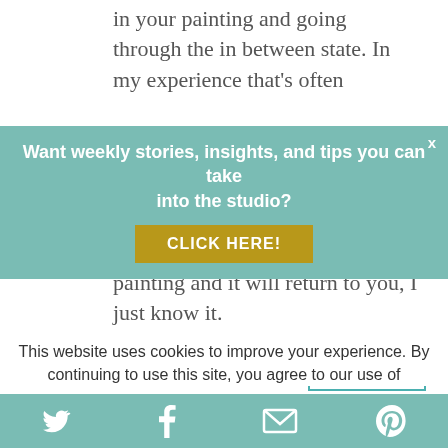in your painting and going through the in between state. In my experience that's often
[Figure (infographic): Teal/mint colored call-to-action banner with text 'Want weekly stories, insights, and tips you can take into the studio?' and a gold 'CLICK HERE!' button. An 'x' close button is in the top right corner.]
painting and it will return to you, I just know it.
Reply
Andrew Getch on May 15 at 4:35 am
This website uses cookies to improve your experience. By continuing to use this site, you agree to our use of
[Figure (infographic): Teal social sharing bar at the bottom with Twitter, Facebook, email, and Pinterest icons in white.]